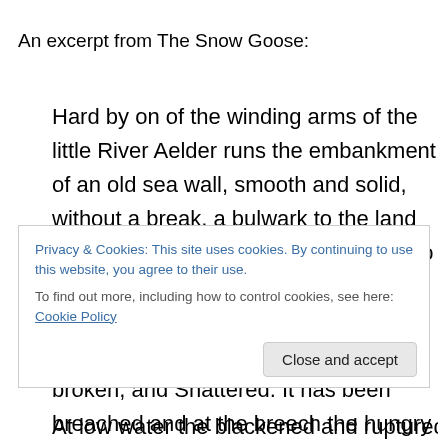An excerpt from The Snow Goose:
Hard by on of the winding arms of the little River Aelder runs the embankment of an old sea wall, smooth and solid, without a break, a bulwark to the land against the encroaching sea. Deep into a salting some three miles from the North Sea it runs, and there turns north. At that corner its face is gouged, broken, and Shattered. It has been breached and at the breech the hungry sea has already entered and taken for its own the land, the wall, and all that stood there
Privacy & Cookies: This site uses cookies. By continuing to use this website, you agree to their use.
To find out more, including how to control cookies, see here: Cookie Policy
Close and accept
At low water the blackened and ruptured stones of the